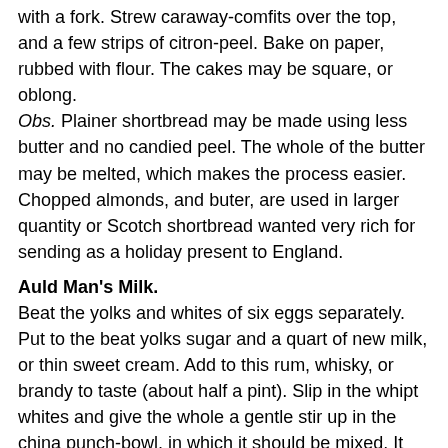with a fork. Strew caraway-comfits over the top, and a few strips of citron-peel. Bake on paper, rubbed with flour. The cakes may be square, or oblong. Obs. Plainer shortbread may be made using less butter and no candied peel. The whole of the butter may be melted, which makes the process easier. Chopped almonds, and buter, are used in larger quantity or Scotch shortbread wanted very rich for sending as a holiday present to England.
Auld Man's Milk.
Beat the yolks and whites of six eggs separately. Put to the beat yolks sugar and a quart of new milk, or thin sweet cream. Add to this rum, whisky, or brandy to taste (about half a pint). Slip in the whipt whites and give the whole a gentle stir up in the china punch-bowl, in which it should be mixed. It may be flavoured with nutmeg or lemon-zest. This Highland morning-cup is nearly the egg-nog of America.
The Old Foodie at 7:58 AM